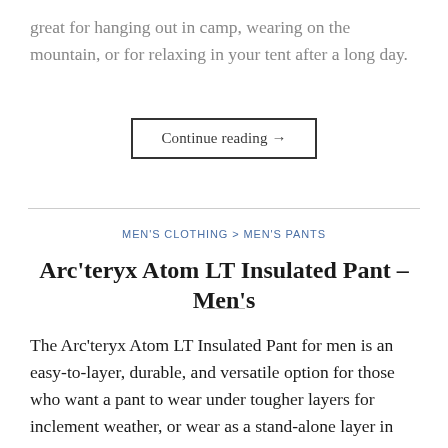great for hanging out in camp, wearing on the mountain, or for relaxing in your tent after a long day.
Continue reading →
MEN'S CLOTHING > MEN'S PANTS
Arc'teryx Atom LT Insulated Pant – Men's
The Arc'teryx Atom LT Insulated Pant for men is an easy-to-layer, durable, and versatile option for those who want a pant to wear under tougher layers for inclement weather, or wear as a stand-alone layer in less daunting climates. Despite not being as warm as some other insulating layers, the weight of this pant makes it great to combine with the next layer and the